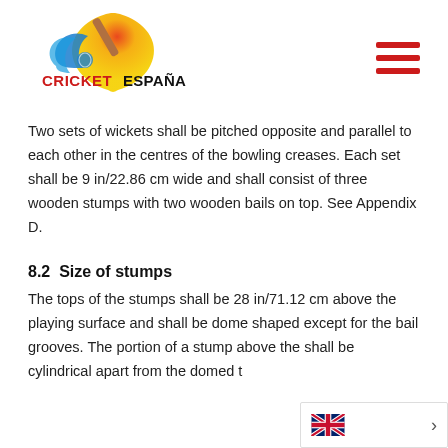Cricket España logo and navigation hamburger menu
Two sets of wickets shall be pitched opposite and parallel to each other in the centres of the bowling creases. Each set shall be 9 in/22.86 cm wide and shall consist of three wooden stumps with two wooden bails on top. See Appendix D.
8.2  Size of stumps
The tops of the stumps shall be 28 in/71.12 cm above the playing surface and shall be dome shaped except for the bail grooves. The portion of a stump above the shall be cylindrical apart from the domed t